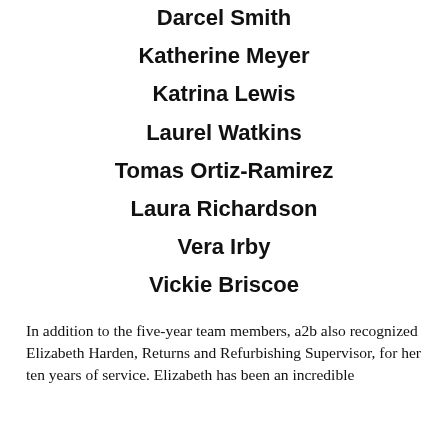Darcel Smith
Katherine Meyer
Katrina Lewis
Laurel Watkins
Tomas Ortiz-Ramirez
Laura Richardson
Vera Irby
Vickie Briscoe
In addition to the five-year team members, a2b also recognized Elizabeth Harden, Returns and Refurbishing Supervisor, for her ten years of service. Elizabeth has been an incredible